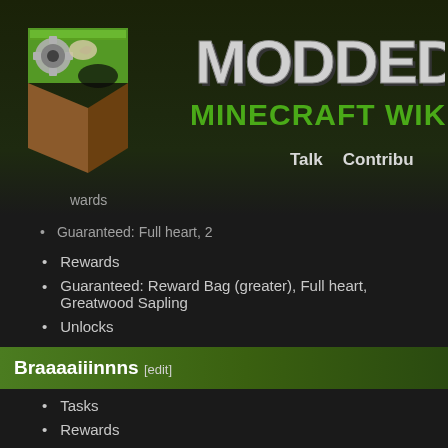Modded Minecraft Wiki — Talk  Contribu
wards
Guaranteed: Full heart, 2
Rewards
Guaranteed: Reward Bag (greater), Full heart, Greatwood Sapling
Unlocks
Braaaaiiinnns [edit]
Tasks
Rewards
Guaranteed: Full heart, Green heart Canister, Reward Bag (greater)
Unlocks
Thaumic Minions [edit]